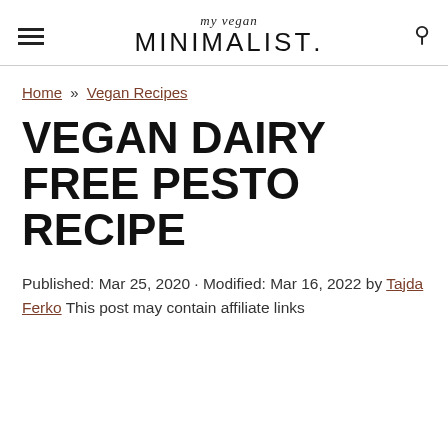my vegan MINIMALIST.
Home » Vegan Recipes
VEGAN DAIRY FREE PESTO RECIPE
Published: Mar 25, 2020 · Modified: Mar 16, 2022 by Tajda Ferko This post may contain affiliate links